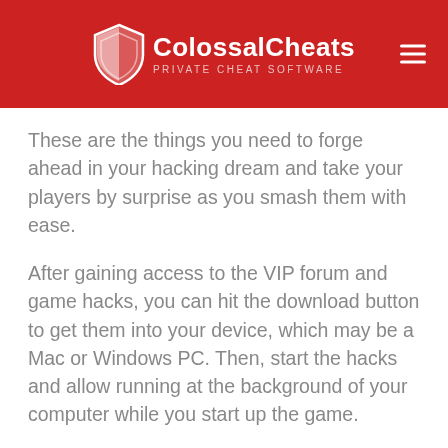ColossalCheats PRIVATE CHEAT SOFTWARE
These are the things you need to forge ahead in your hacking dream and take your players by surprise as you smash them with ease.
After gaining access to the VIP forum and game hacks, you can hit the download button to get them into your device, which may be a Mac or Windows PC. Then, start the hacks and allow running at the background of your computer while you start up the game.